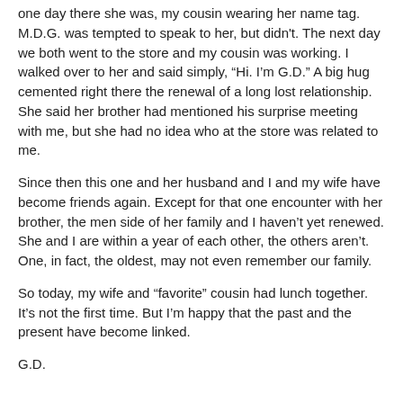one day there she was, my cousin wearing her name tag. M.D.G. was tempted to speak to her, but didn't. The next day we both went to the store and my cousin was working. I walked over to her and said simply, “Hi. I’m G.D.” A big hug cemented right there the renewal of a long lost relationship. She said her brother had mentioned his surprise meeting with me, but she had no idea who at the store was related to me.
Since then this one and her husband and I and my wife have become friends again. Except for that one encounter with her brother, the men side of her family and I haven’t yet renewed. She and I are within a year of each other, the others aren’t. One, in fact, the oldest, may not even remember our family.
So today, my wife and “favorite” cousin had lunch together. It’s not the first time. But I’m happy that the past and the present have become linked.
G.D.